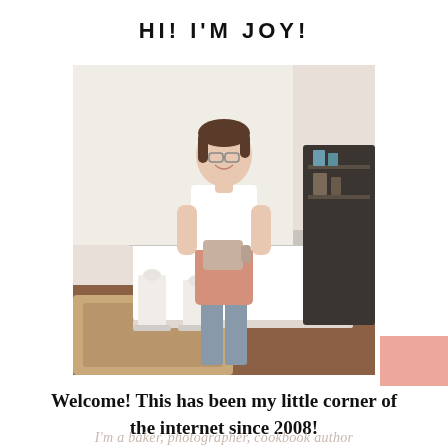HI! I'M JOY!
[Figure (photo): A woman smiling, wearing a white shirt, pink apron, and jeans, holding a mug, standing in front of a white kitchen island with bar stools.]
Welcome! This has been my little corner of the internet since 2008!
I'm a baker, photographer, cookbook author